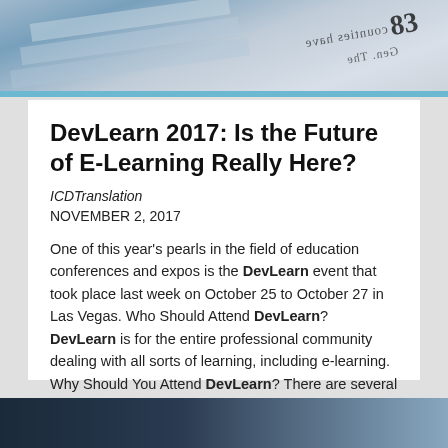[Figure (photo): Newspaper pages stacked, photographed from above at an angle, in blue-tinted tones with visible text and numbers (83 visible)]
DevLearn 2017: Is the Future of E-Learning Really Here?
ICDTranslation
NOVEMBER 2, 2017
One of this year's pearls in the field of education conferences and expos is the DevLearn event that took place last week on October 25 to October 27 in Las Vegas. Who Should Attend DevLearn? DevLearn is for the entire professional community dealing with all sorts of learning, including e-learning. Why Should You Attend DevLearn? There are several reasons why you should attend the DevLearn conference and expo.
[Figure (other): Bottom dark blue bar at the bottom of the page]